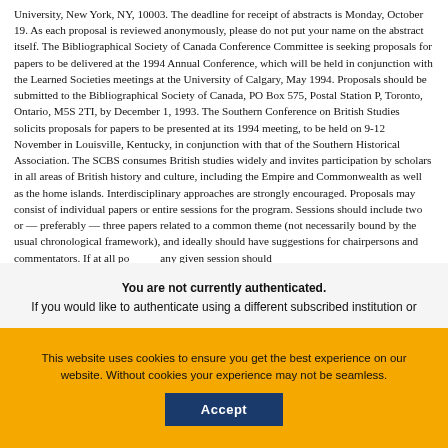University, New York, NY, 10003. The deadline for receipt of abstracts is Monday, October 19. As each proposal is reviewed anonymously, please do not put your name on the abstract itself. The Bibliographical Society of Canada Conference Committee is seeking proposals for papers to be delivered at the 1994 Annual Conference, which will be held in conjunction with the Learned Societies meetings at the University of Calgary, May 1994. Proposals should be submitted to the Bibliographical Society of Canada, PO Box 575, Postal Station P, Toronto, Ontario, M5S 2TI, by December 1, 1993. The Southern Conference on British Studies solicits proposals for papers to be presented at its 1994 meeting, to be held on 9-12 November in Louisville, Kentucky, in conjunction with that of the Southern Historical Association. The SCBS consumes British studies widely and invites participation by scholars in all areas of British history and culture, including the Empire and Commonwealth as well as the home islands. Interdisciplinary approaches are strongly encouraged. Proposals may consist of individual papers or entire sessions for the program. Sessions should include two or — preferably — three papers related to a common theme (not necessarily bound by the usual chronological framework), and ideally should have suggestions for chairpersons and commentators. If at all po... any given session should
You are not currently authenticated. If you would like to authenticate using a different subscribed institution or
This website uses cookies to ensure you get the best experience on our website. Without cookies your experience may not be seamless.